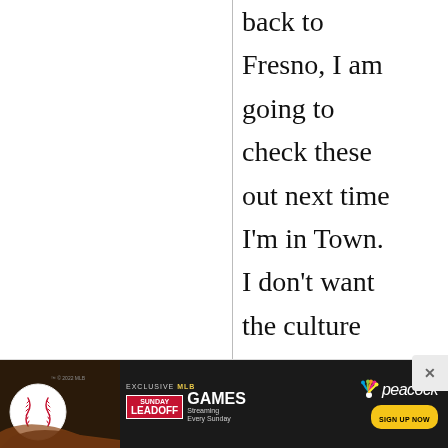back to Fresno, I am going to check these out next time I'm in Town. I don't want the culture shock of not being able to access the wonderful
[Figure (other): Advertisement banner for Peacock streaming service featuring exclusive MLB Sunday Leadoff games, with baseball imagery and sign-up button]